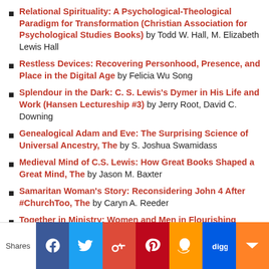Relational Spirituality: A Psychological-Theological Paradigm for Transformation (Christian Association for Psychological Studies Books) by Todd W. Hall, M. Elizabeth Lewis Hall
Restless Devices: Recovering Personhood, Presence, and Place in the Digital Age by Felicia Wu Song
Splendour in the Dark: C. S. Lewis's Dymer in His Life and Work (Hansen Lectureship #3) by Jerry Root, David C. Downing
Genealogical Adam and Eve: The Surprising Science of Universal Ancestry, The by S. Joshua Swamidass
Medieval Mind of C.S. Lewis: How Great Books Shaped a Great Mind, The by Jason M. Baxter
Samaritan Woman's Story: Reconsidering John 4 After #ChurchToo, The by Caryn A. Reeder
Together in Ministry: Women and Men in Flourishing...